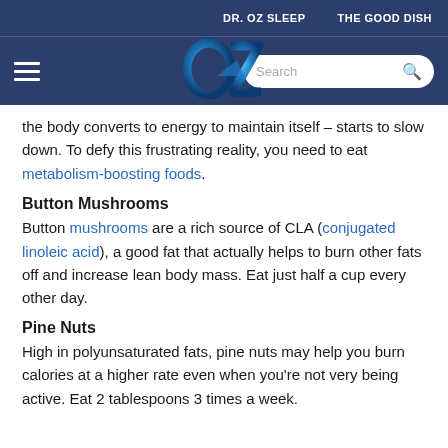DR. OZ SLEEP    THE GOOD DISH
[Figure (logo): Dr. Oz website navigation bar with hamburger menu, OZ logo in blue gradient, and search box]
the body converts to energy to maintain itself – starts to slow down. To defy this frustrating reality, you need to eat metabolism-boosting foods.
Button Mushrooms
Button mushrooms are a rich source of CLA (conjugated linoleic acid), a good fat that actually helps to burn other fats off and increase lean body mass. Eat just half a cup every other day.
Pine Nuts
High in polyunsaturated fats, pine nuts may help you burn calories at a higher rate even when you're not very being active. Eat 2 tablespoons 3 times a week.